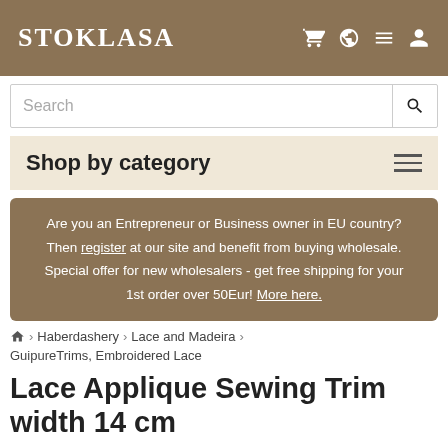STOKLASA
Search
Shop by category
Are you an Entrepreneur or Business owner in EU country? Then register at our site and benefit from buying wholesale. Special offer for new wholesalers - get free shipping for your 1st order over 50Eur! More here.
Home > Haberdashery > Lace and Madeira > GuipureTrims, Embroidered Lace
Lace Applique Sewing Trim width 14 cm
Item Number: 180710
[Figure (photo): Partial thumbnail of a lace applique sewing trim product]